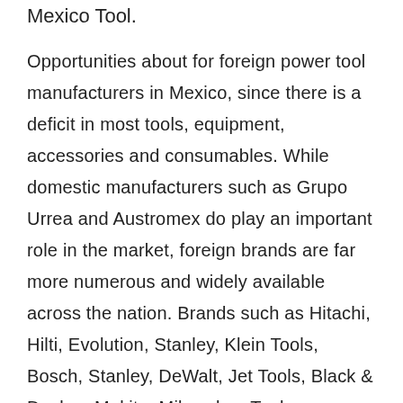Mexico Tool.
Opportunities about for foreign power tool manufacturers in Mexico, since there is a deficit in most tools, equipment, accessories and consumables. While domestic manufacturers such as Grupo Urrea and Austromex do play an important role in the market, foreign brands are far more numerous and widely available across the nation. Brands such as Hitachi, Hilti, Evolution, Stanley, Klein Tools, Bosch, Stanley, DeWalt, Jet Tools, Black & Decker, Makita, Milwaukee Tool